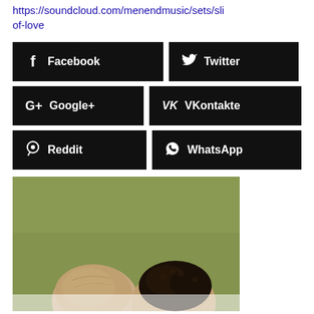https://soundcloud.com/menendmusic/sets/sli of-love
[Figure (infographic): Social share buttons: Facebook, Twitter, Google+, VKontakte, Reddit, WhatsApp]
[Figure (photo): Two men photographed against an olive/green background. The tops of their heads are visible, one bald/shaved and one with dark hair.]